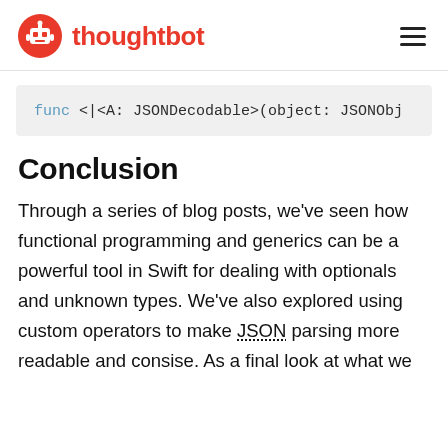thoughtbot
[Figure (screenshot): Code snippet showing: func <|<A: JSONDecodable>(object: JSONObj]
Conclusion
Through a series of blog posts, we've seen how functional programming and generics can be a powerful tool in Swift for dealing with optionals and unknown types. We've also explored using custom operators to make JSON parsing more readable and consise. As a final look at what we